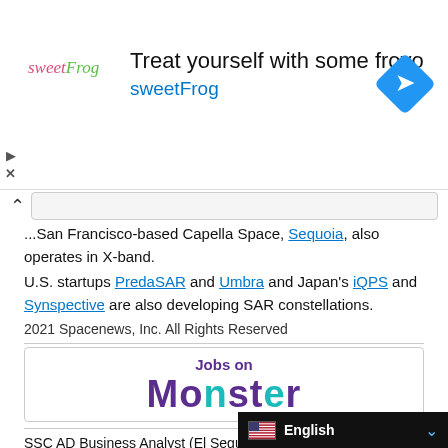[Figure (infographic): sweetFrog frozen yogurt advertisement banner with logo, tagline 'Treat yourself with some froyo sweetFrog', and a blue navigation arrow icon]
...San Francisco-based Capella Space, Sequoia, also operates in X-band.
U.S. startups PredaSAR and Umbra and Japan's iQPS and Synspective are also developing SAR constellations.
2021 Spacenews, Inc. All Rights Reserved
[Figure (logo): Jobs on Monster logo banner — 'Jobs on' in purple bold text above 'MONSTER' in large stylized purple and teal lettering]
SSC AD Business Analyst (El Segundo, CA)
Integrated Data Services,..., El Segundo, CA
Project Engineer - Aerospace